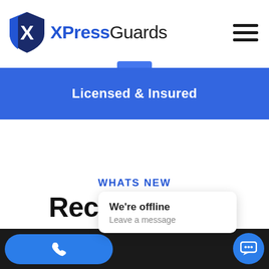XPressGuards
Licensed & Insured
WHATS NEW
Recent Posts
We're offline
Leave a message